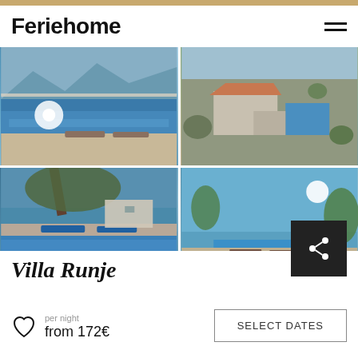Feriehome
[Figure (photo): Villa with infinity pool and mountain view, sun loungers]
[Figure (photo): Aerial view of stone villa with pool, terracotta roof]
[Figure (photo): Villa pool area with tree shade and blue sun loungers]
[Figure (photo): Pool terrace with yellow umbrellas and Mediterranean trees]
[Figure (photo): Partial view of pool and blue sky]
[Figure (photo): Partial view with sun glare and sky]
Villa Runje
per night
from 172€
SELECT DATES